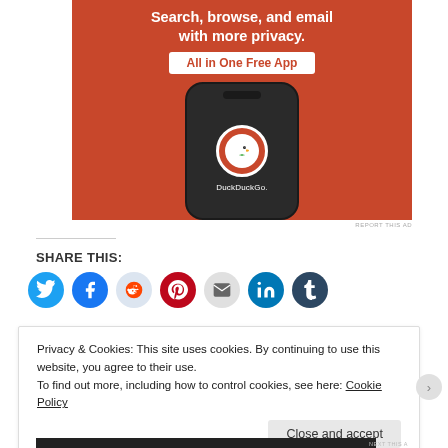[Figure (illustration): DuckDuckGo advertisement banner showing a smartphone with DuckDuckGo logo on an orange/red background. Text reads 'Search, browse, and email with more privacy. All in One Free App']
REPORT THIS AD
SHARE THIS:
[Figure (infographic): Row of social media share icon buttons: Twitter (blue), Facebook (blue), Reddit (light blue), Pinterest (red), Email (grey), LinkedIn (blue), Tumblr (dark blue)]
Privacy & Cookies: This site uses cookies. By continuing to use this website, you agree to their use.
To find out more, including how to control cookies, see here: Cookie Policy
Close and accept